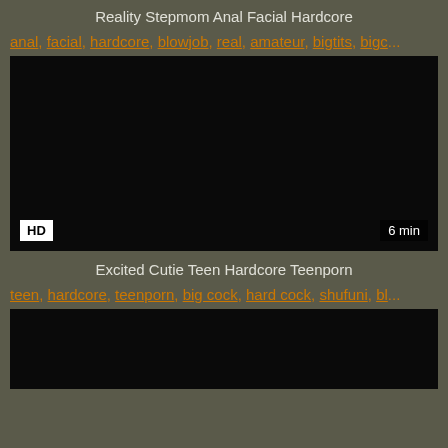Reality Stepmom Anal Facial Hardcore
anal, facial, hardcore, blowjob, real, amateur, bigtits, bigc...
[Figure (screenshot): Dark video thumbnail with HD badge and 6 min duration label]
Excited Cutie Teen Hardcore Teenporn
teen, hardcore, teenporn, big cock, hard cock, shufuni, bl...
[Figure (screenshot): Dark video thumbnail partially visible at bottom of page]